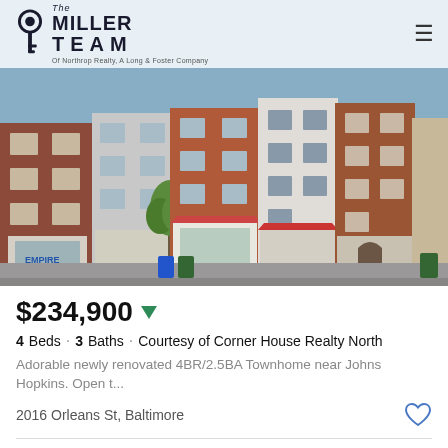The Miller Team Of Northrop Realty, A Long & Foster Company
[Figure (photo): Row of Baltimore brick townhomes along a city street, with storefronts at street level including red awnings and parked bins visible.]
$234,900
4 Beds · 3 Baths · Courtesy of Corner House Realty North
Adorable newly renovated 4BR/2.5BA Townhome near Johns Hopkins. Open t...
2016 Orleans St, Baltimore
Listing courtesy of Corner House Realty North.